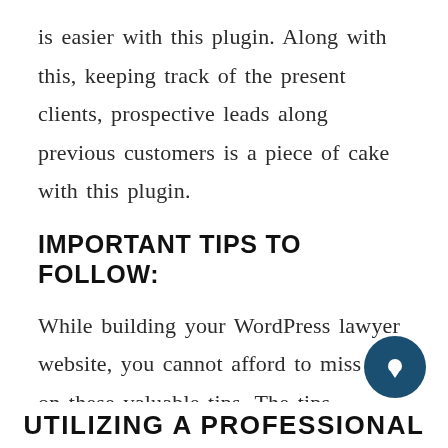is easier with this plugin. Along with this, keeping track of the present clients, prospective leads along previous customers is a piece of cake with this plugin.
IMPORTANT TIPS TO FOLLOW:
While building your WordPress lawyer website, you cannot afford to miss out on these valuable tips. The tips include:
UTILIZING A PROFESSIONAL